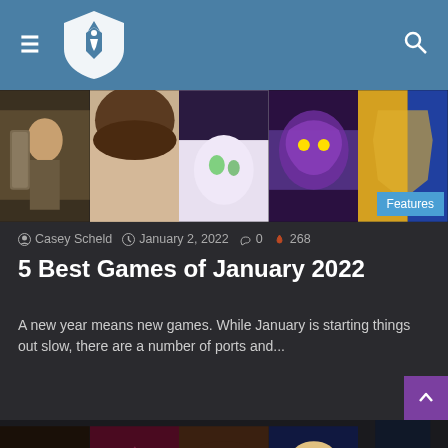Gaming website header with shield logo and hamburger/search icons
[Figure (photo): Five-panel horizontal strip of game screenshots: warrior character, close-up of head/hair, anime character with egg, purple dragon creature, yellow and blue armored character]
Casey Scheld  January 2, 2022  0  268
5 Best Games of January 2022
A new year means new games. While January is starting things out slow, there are a number of ports and...
Read More »
[Figure (photo): Bottom row of game screenshot thumbnails partially visible: insect creature, mountain landscape, woman with hat, anime character, partially cut off]